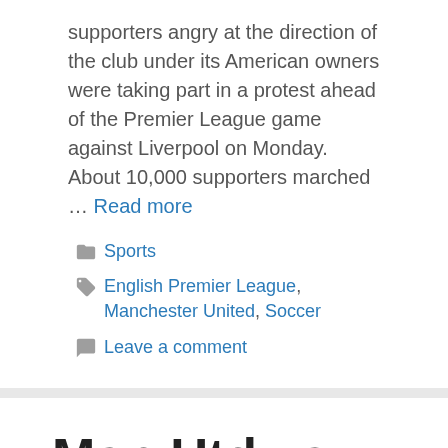supporters angry at the direction of the club under its American owners were taking part in a protest ahead of the Premier League game against Liverpool on Monday. About 10,000 supporters marched … Read more
Sports
English Premier League, Manchester United, Soccer
Leave a comment
Man Utd vs Liverpool – Premier League